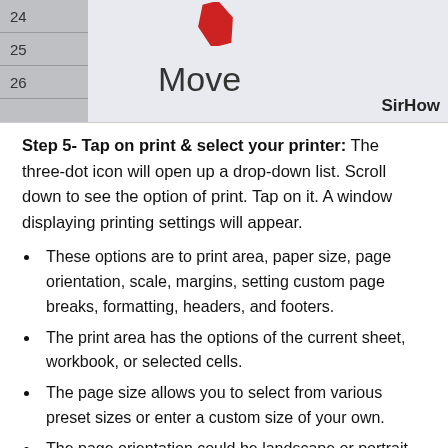[Figure (screenshot): Partial screenshot of a spreadsheet showing row numbers 24, 25, 26 on the left side with a gray background, and a 'Move' label text and 'SirHow' watermark on a light blue background. A red arrow/icon is visible at the top.]
Step 5- Tap on print & select your printer: The three-dot icon will open up a drop-down list. Scroll down to see the option of print. Tap on it. A window displaying printing settings will appear.
These options are to print area, paper size, page orientation, scale, margins, setting custom page breaks, formatting, headers, and footers.
The print area has the options of the current sheet, workbook, or selected cells.
The page size allows you to select from various preset sizes or enter a custom size of your own.
The page orientation could be landscape or portrait